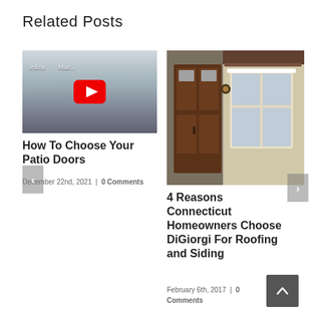Related Posts
[Figure (screenshot): YouTube video thumbnail showing 'Infiniti Mar...' with YouTube play button, interior scene]
How To Choose Your Patio Doors
December 22nd, 2021  |  0 Comments
[Figure (photo): Photo of a brown garage door with stone surround and bay window]
4 Reasons Connecticut Homeowners Choose DiGiorgi For Roofing and Siding
February 6th, 2017  |  0 Comments